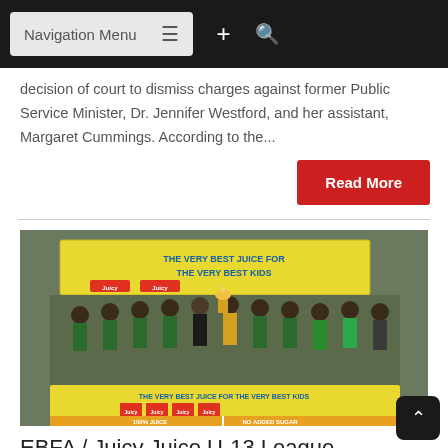Navigation Menu
decision of court to dismiss charges against former Public Service Minister, Dr. Jennifer Westford, and her assistant, Margaret Cummings. According to the...
Read More
[Figure (photo): Group photo of youth soccer team holding a trophy in front of Juicy Juice branded banners reading 'THE VERY BEST JUICE FOR THE VERY BEST KIDS' and '100% JUICE | NO ADDED SUGAR']
EBFA / Juicy Juice U-13 League.... Timehri hold off